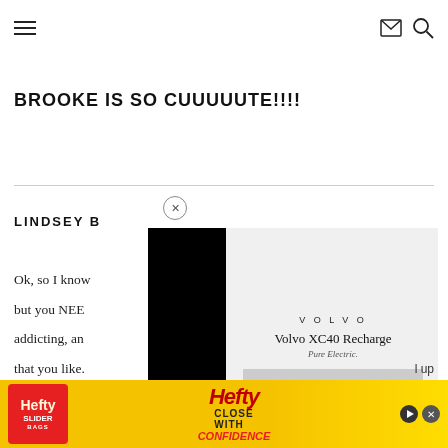Navigation header with hamburger menu, mail icon, and search icon
BROOKE IS SO CUUUUUTE!!!!
LINDSEY B
Ok, so I know
but you NEE
addicting, an
that you like.
[Figure (screenshot): Volvo XC40 Recharge Pure Electric advertisement overlay with black side panels and car image]
[Figure (screenshot): Hefty Slider Bags Close With Confidence bottom banner advertisement in yellow and red]